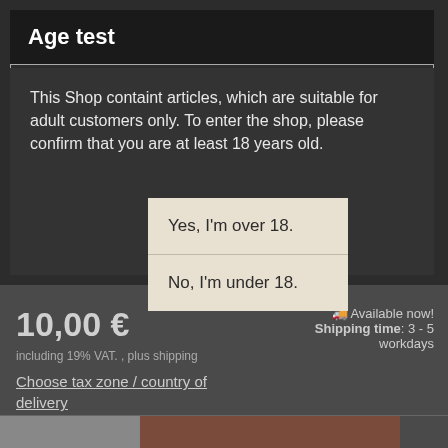Age test
This Shop containt articles, which are suitable for adult customers only. To enter the shop, please confirm that you are at least 18 years old.
Yes, I'm over 18.
No, I'm under 18.
10,00 €
including 19% VAT. , plus shipping
Choose tax zone / country of delivery
🚚 Available now! Shipping time: 3 - 5 workdays